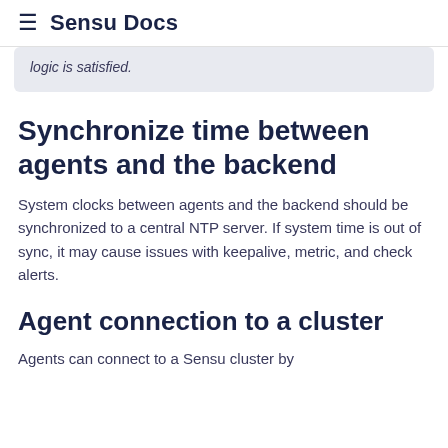≡ Sensu Docs
logic is satisfied.
Synchronize time between agents and the backend
System clocks between agents and the backend should be synchronized to a central NTP server. If system time is out of sync, it may cause issues with keepalive, metric, and check alerts.
Agent connection to a cluster
Agents can connect to a Sensu cluster by